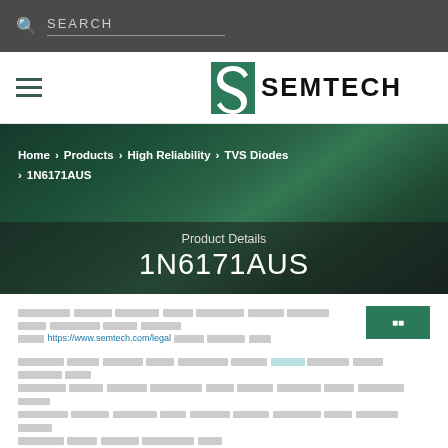SEARCH
[Figure (logo): Semtech logo with stylized S and SEMTECH wordmark]
Home > Products > High Reliability > TVS Diodes > 1N6171AUS
Product Details
1N6171AUS
[cookie notice text] https://www.semtech.com/legal [continued cookie text]
[body text with link]